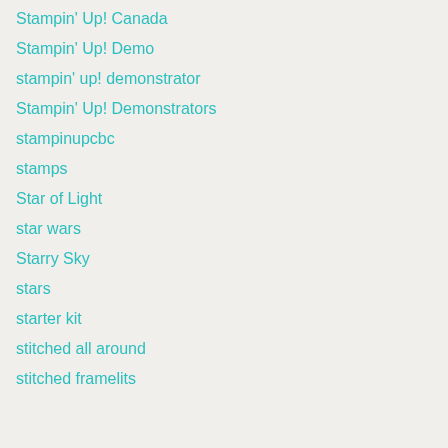Stampin' Up! Canada
Stampin' Up! Demo
stampin' up! demonstrator
Stampin' Up! Demonstrators
stampinupcbc
stamps
Star of Light
star wars
Starry Sky
stars
starter kit
stitched all around
stitched framelits